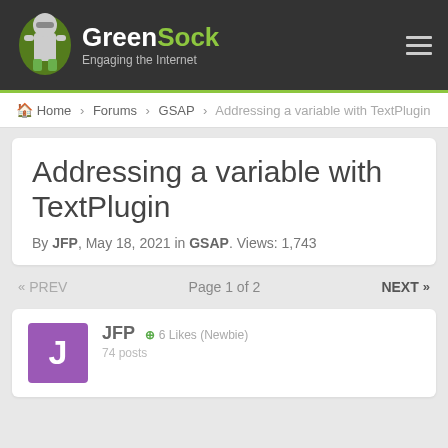GreenSock — Engaging the Internet
Home > Forums > GSAP > Addressing a variable with TextPlugin
Addressing a variable with TextPlugin
By JFP, May 18, 2021 in GSAP. Views: 1,743
« PREV   Page 1 of 2   NEXT »
JFP  +6 Likes (Newbie)